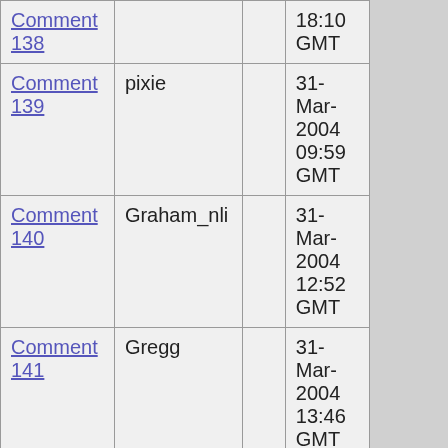| Comment | Author |  | Date |
| --- | --- | --- | --- |
| Comment 138 |  |  | 18:10 GMT |
| Comment 139 | pixie |  | 31-Mar-2004 09:59 GMT |
| Comment 140 | Graham_nli |  | 31-Mar-2004 12:52 GMT |
| Comment 141 | Gregg |  | 31-Mar-2004 13:46 GMT |
| Comment 142 | Interesting |  | 31-Mar-2004 15:27 GMT |
| Comment 143 |  |  | 31-Mar-... |